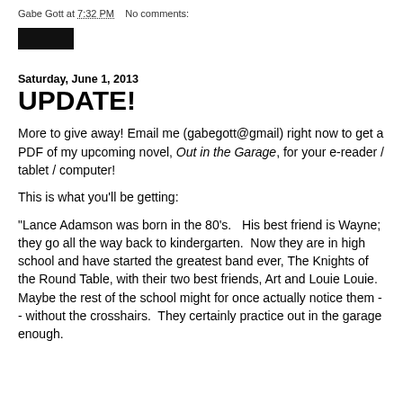Gabe Gott at 7:32 PM    No comments:
[Figure (other): Small black rectangular button/widget]
Saturday, June 1, 2013
UPDATE!
More to give away!  Email me (gabegott@gmail) right now to get a PDF of my upcoming novel, Out in the Garage, for your e-reader / tablet / computer!

This is what you'll be getting:

"Lance Adamson was born in the 80's.   His best friend is Wayne; they go all the way back to kindergarten.  Now they are in high school and have started the greatest band ever, The Knights of the Round Table, with their two best friends, Art and Louie Louie.  Maybe the rest of the school might for once actually notice them -- without the crosshairs.  They certainly practice out in the garage enough.